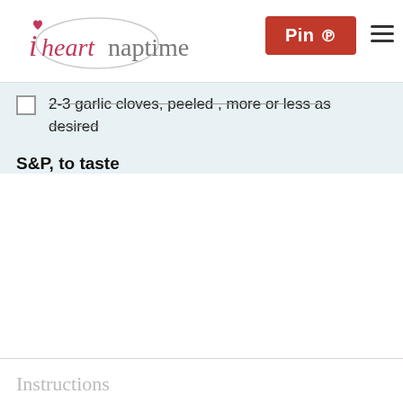i heart naptime | Pin | menu
2-3 garlic cloves, peeled , more or less as desired
S&P, to taste
Instructions